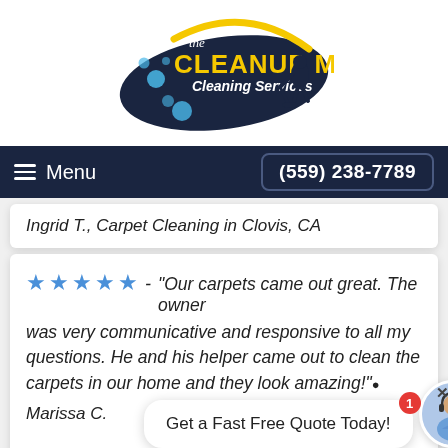[Figure (logo): The Cleanup Man Cleaning Services logo with yellow text, dark navy swoosh, bubbles, and silhouette of a person cleaning]
Menu | (559) 238-7789
Ingrid T., Carpet Cleaning in Clovis, CA
★★★★★ - "Our carpets came out great. The owner was very communicative and responsive to all my questions. He and his helper came out to clean the carpets in our home and they look amazing!"
Marissa C.
Get a Fast Free Quote Today!